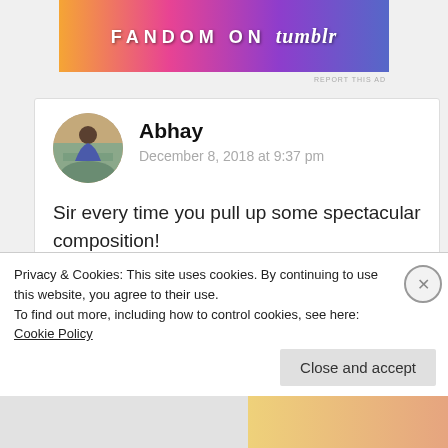[Figure (illustration): Fandom on Tumblr advertisement banner with colorful gradient background (orange to purple) and bold white text]
REPORT THIS AD
Abhay
December 8, 2018 at 9:37 pm
Sir every time you pull up some spectacular composition!
Reply
Privacy & Cookies: This site uses cookies. By continuing to use this website, you agree to their use.
To find out more, including how to control cookies, see here: Cookie Policy
Close and accept